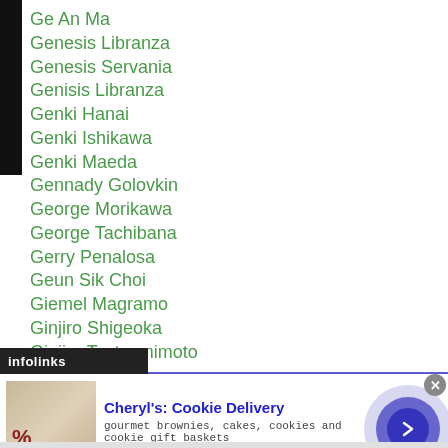Ge An Ma
Genesis Libranza
Genesis Servania
Genisis Libranza
Genki Hanai
Genki Ishikawa
Genki Maeda
Gennady Golovkin
George Morikawa
George Tachibana
Gerry Penalosa
Geun Sik Choi
Giemel Magramo
Ginjiro Shigeoka
Ginjiro Tsutsumimoto
ni Escaner
[Figure (screenshot): Advertisement banner: Cheryl's Cookie Delivery — gourmet brownies, cakes, cookies and cookie gift baskets. www.cheryls.com. With infolinks bar and navigation arrow.]